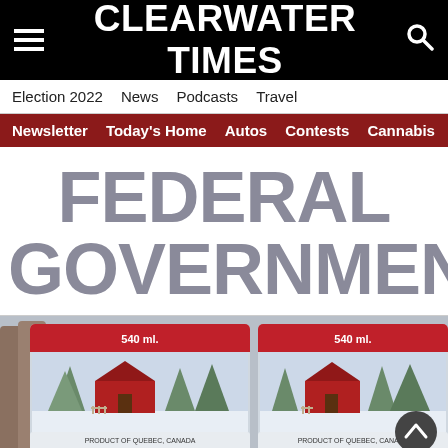CLEARWATER TIMES
Election 2022  News  Podcasts  Travel
Newsletter  Today's Home  Autos  Contests  Cannabis
FEDERAL GOVERNMENT
[Figure (photo): Stacked maple syrup cans labeled '540 ml' with a winter scene showing a red barn, Product of Quebec, Canada]